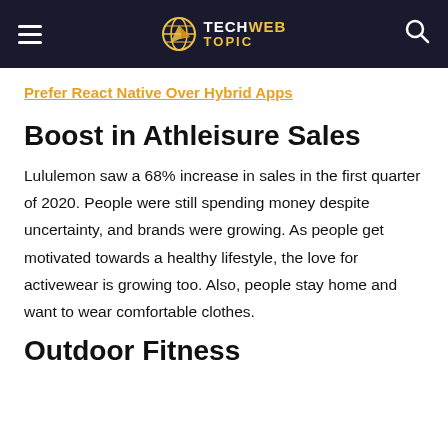TechWebTopic
Prefer React Native Over Hybrid Apps
Boost in Athleisure Sales
Lululemon saw a 68% increase in sales in the first quarter of 2020. People were still spending money despite uncertainty, and brands were growing. As people get motivated towards a healthy lifestyle, the love for activewear is growing too. Also, people stay home and want to wear comfortable clothes.
Outdoor Fitness